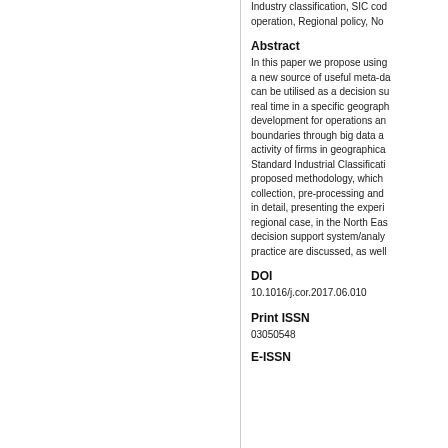Industry classification, SIC codes, Co-operation, Regional policy, No...
Abstract
In this paper we propose using a new source of useful meta-da... can be utilised as a decision su... real time in a specific geograph... development for operations an... boundaries through big data a... activity of firms in geographica... Standard Industrial Classificati... proposed methodology, which collection, pre-processing and in detail, presenting the experi... regional case, in the North Eas... decision support system/analy... practice are discussed, as well...
DOI
10.1016/j.cor.2017.06.010
Print ISSN
03050548
E-ISSN